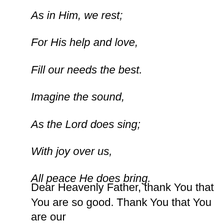As in Him, we rest;
For His help and love,
Fill our needs the best.
Imagine the sound,
As the Lord does sing;
With joy over us,
All peace He does bring.
Dear Heavenly Father, thank You that You are so good. Thank You that You are our